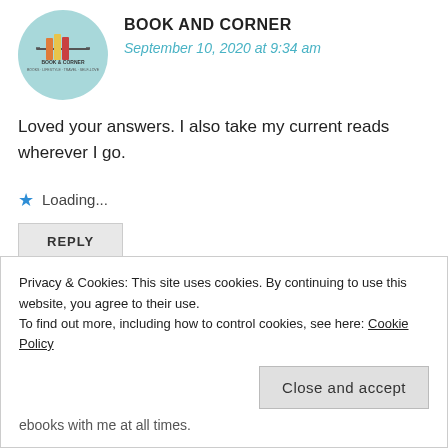[Figure (logo): Book and Corner circular logo with teal background and book illustration]
BOOK AND CORNER
September 10, 2020 at 9:34 am
Loved your answers. I also take my current reads wherever I go.
Loading...
REPLY
Privacy & Cookies: This site uses cookies. By continuing to use this website, you agree to their use.
To find out more, including how to control cookies, see here: Cookie Policy
Close and accept
ebooks with me at all times.